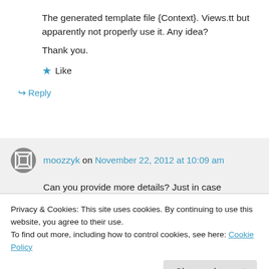The generated template file {Context}. Views.tt but apparently not properly use it. Any idea?
Thank you.
★ Like
↪ Reply
moozzyk on November 22, 2012 at 10:09 am
Can you provide more details? Just in case
Privacy & Cookies: This site uses cookies. By continuing to use this website, you agree to their use. To find out more, including how to control cookies, see here: Cookie Policy
Close and accept
should be MyContext.Views.tt